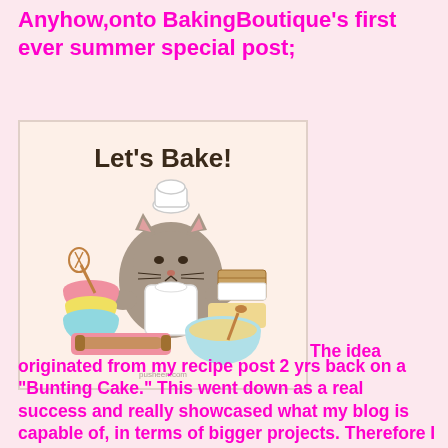Anyhow,onto BakingBoutique's first ever summer special post;
[Figure (illustration): Pusheen cat wearing a chef hat and apron, surrounded by baking items including mixing bowls, a rolling pin, a cutting board, and ingredients. Text above reads 'Let's Bake!' Watermark: pusheen.com]
The idea originated from my recipe post 2 yrs back on a "Bunting Cake." This went down as a real success and really showcased what my blog is capable of, in terms of bigger projects. Therefore I wanted to incorporate